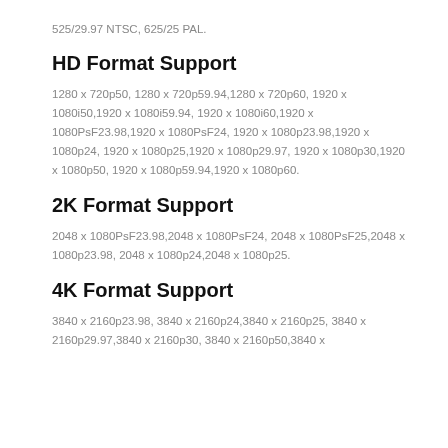525/29.97 NTSC, 625/25 PAL.
HD Format Support
1280 x 720p50, 1280 x 720p59.94,1280 x 720p60, 1920 x 1080i50,1920 x 1080i59.94, 1920 x 1080i60,1920 x 1080PsF23.98,1920 x 1080PsF24, 1920 x 1080p23.98,1920 x 1080p24, 1920 x 1080p25,1920 x 1080p29.97, 1920 x 1080p30,1920 x 1080p50, 1920 x 1080p59.94,1920 x 1080p60.
2K Format Support
2048 x 1080PsF23.98,2048 x 1080PsF24, 2048 x 1080PsF25,2048 x 1080p23.98, 2048 x 1080p24,2048 x 1080p25.
4K Format Support
3840 x 2160p23.98, 3840 x 2160p24,3840 x 2160p25, 3840 x 2160p29.97,3840 x 2160p30, 3840 x 2160p50,3840 x